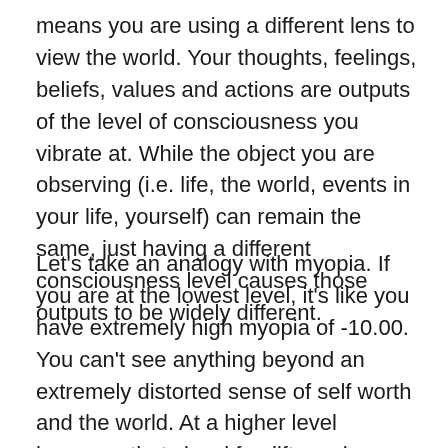means you are using a different lens to view the world. Your thoughts, feelings, beliefs, values and actions are outputs of the level of consciousness you vibrate at. While the object you are observing (i.e. life, the world, events in your life, yourself) can remain the same, just having a different consciousness level causes those outputs to be widely different.
Let's take an analogy with myopia. If you are at the lowest level, it's like you have extremely high myopia of -10.00. You can't see anything beyond an extremely distorted sense of self worth and the world. At a higher level however, that visual fog lifts and you develop higher clarity on yourself, the world, and your place in the world. Your vision becomes less hazy and more accurate. The higher you go, the higher the clarity your vision on what the world